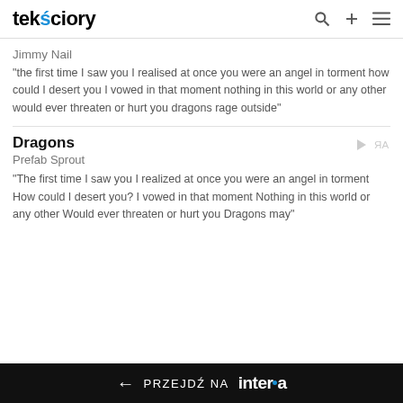teksciory
Jimmy Nail
"the first time I saw you I realised at once you were an angel in torment how could I desert you I vowed in that moment nothing in this world or any other would ever threaten or hurt you dragons rage outside"
Dragons
Prefab Sprout
"The first time I saw you I realized at once you were an angel in torment How could I desert you? I vowed in that moment Nothing in this world or any other Would ever threaten or hurt you Dragons may"
← PRZEJDŹ NA interia